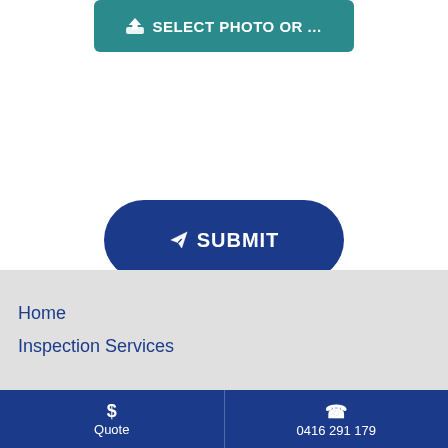[Figure (screenshot): Teal rounded-rectangle button labeled '⬆ SELECT PHOTO OR ...' at top of page]
[Figure (screenshot): Dark blue pill-shaped button labeled '✈ SUBMIT' in center of white area]
Home
Inspection Services
$ Quote   0416 291 179